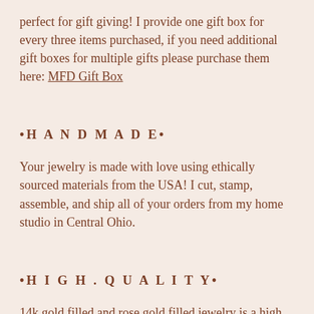perfect for gift giving! I provide one gift box for every three items purchased, if you need additional gift boxes for multiple gifts please purchase them here: MFD Gift Box
•H A N D M A D E•
Your jewelry is made with love using ethically sourced materials from the USA! I cut, stamp, assemble, and ship all of your orders from my home studio in Central Ohio.
•H I G H . Q U A L I T Y•
14k gold filled and rose gold filled jewelry is a high quality metal composed of at least 5% pure gold by weight as required by law. Gold filled is a layer of gold pressure bonded to high quality jewelers brass. It maintains its shine and will not rust, tarnish, or turn your skin green. This is the